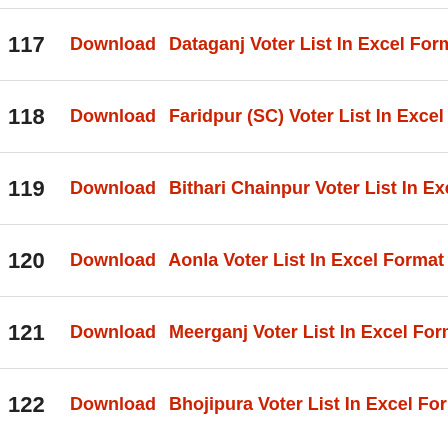117  Download  Dataganj Voter List In Excel Format
118  Download  Faridpur (SC) Voter List In Excel Format
119  Download  Bithari Chainpur Voter List In Excel Format
120  Download  Aonla Voter List In Excel Format
121  Download  Meerganj Voter List In Excel Format
122  Download  Bhojipura Voter List In Excel Format